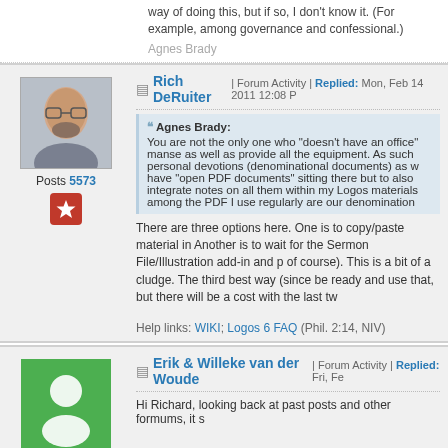way of doing this, but if so, I don't know it. (For example, among governance and confessional.)
Agnes Brady
Rich DeRuiter | Forum Activity | Replied: Mon, Feb 14 2011 12:08 P
Agnes Brady: You are not the only one who "doesn't have an office" manse as well as provide all the equipment. As such personal devotions (denominational documents) as w have "open PDF documents" sitting there but to also integrate notes on all them within my Logos materials among the PDF I use regularly are our denomination
There are three options here. One is to copy/paste material in Another is to wait for the Sermon File/Illustration add-in and p of course). This is a bit of a cludge. The third best way (since be ready and use that, but there will be a cost with the last tw
Help links: WIKI;  Logos 6 FAQ  (Phil. 2:14, NIV)
Erik & Willeke van der Woude | Forum Activity | Replied: Fri, Fe
Hi Richard, looking back at past posts and other formums, it s